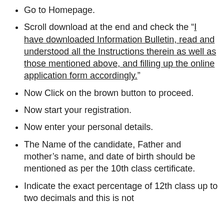Go to Homepage.
Scroll download at the end and check the “I have downloaded Information Bulletin, read and understood all the Instructions therein as well as those mentioned above, and filling up the online application form accordingly.”
Now Click on the brown button to proceed.
Now start your registration.
Now enter your personal details.
The Name of the candidate, Father and mother’s name, and date of birth should be mentioned as per the 10th class certificate.
Indicate the exact percentage of 12th class up to two decimals and this is not